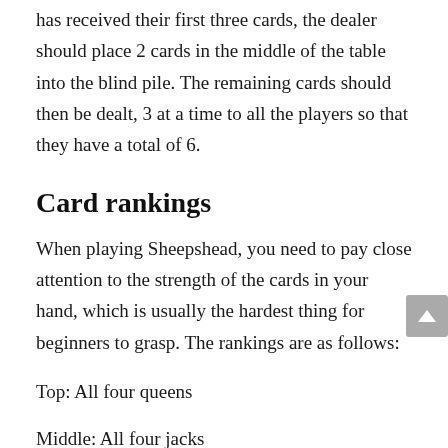has received their first three cards, the dealer should place 2 cards in the middle of the table into the blind pile. The remaining cards should then be dealt, 3 at a time to all the players so that they have a total of 6.
Card rankings
When playing Sheepshead, you need to pay close attention to the strength of the cards in your hand, which is usually the hardest thing for beginners to grasp. The rankings are as follows:
Top: All four queens
Middle: All four jacks